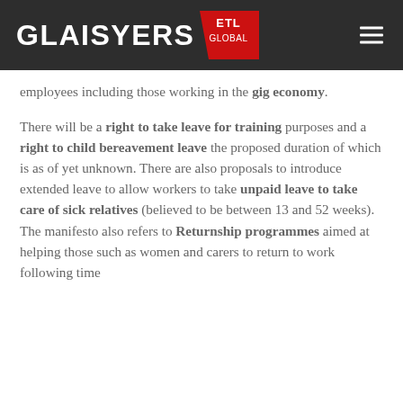[Figure (logo): Glaisyers ETL Global logo on dark grey header background with hamburger menu icon]
employees including those working in the gig economy.
There will be a right to take leave for training purposes and a right to child bereavement leave the proposed duration of which is as of yet unknown. There are also proposals to introduce extended leave to allow workers to take unpaid leave to take care of sick relatives (believed to be between 13 and 52 weeks). The manifesto also refers to Returnship programmes aimed at helping those such as women and carers to return to work following time out from work by providing skills training and